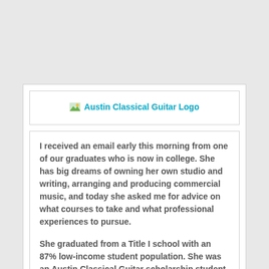[Figure (logo): Austin Classical Guitar Logo — broken image placeholder with cyan text label]
I received an email early this morning from one of our graduates who is now in college. She has big dreams of owning her own studio and writing, arranging and producing commercial music, and today she asked me for advice on what courses to take and what professional experiences to pursue.
She graduated from a Title I school with an 87% low-income student population. She was an Austin Classical Guitar scholarship student, she